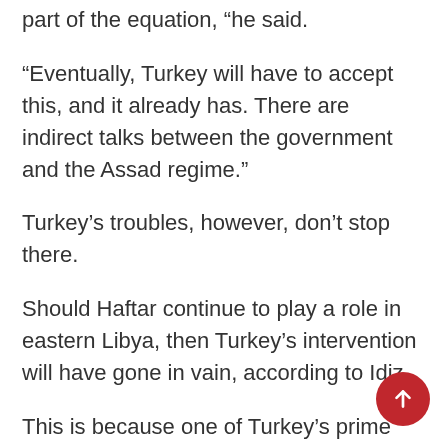part of the equation, “he said.
“Eventually, Turkey will have to accept this, and it already has. There are indirect talks between the government and the Assad regime.”
Turkey’s troubles, however, don’t stop there.
Should Haftar continue to play a role in eastern Libya, then Turkey’s intervention will have gone in vain, according to Idiz.
This is because one of Turkey’s prime motivations for entering the war was a contentious maritime border demarcation agreement it signed with the GNA that